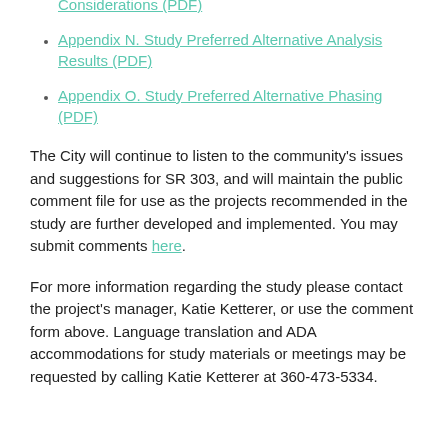Appendix L. Second Level Screening Results (PDF)
Appendix M. Study Preferred Alternative Considerations (PDF)
Appendix N. Study Preferred Alternative Analysis Results (PDF)
Appendix O. Study Preferred Alternative Phasing (PDF)
The City will continue to listen to the community's issues and suggestions for SR 303, and will maintain the public comment file for use as the projects recommended in the study are further developed and implemented. You may submit comments here.
For more information regarding the study please contact the project's manager, Katie Ketterer, or use the comment form above. Language translation and ADA accommodations for study materials or meetings may be requested by calling Katie Ketterer at 360-473-5334.